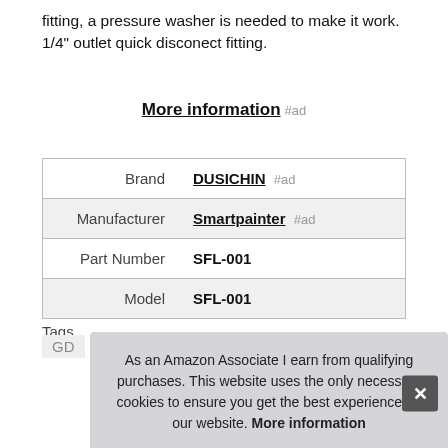fitting, a pressure washer is needed to make it work. 1/4" outlet quick disconect fitting.
More information #ad
|  |  |
| --- | --- |
| Brand | DUSICHIN #ad |
| Manufacturer | Smartpainter #ad |
| Part Number | SFL-001 |
| Model | SFL-001 |
More information #ad
Tags
GD
As an Amazon Associate I earn from qualifying purchases. This website uses the only necessary cookies to ensure you get the best experience on our website. More information